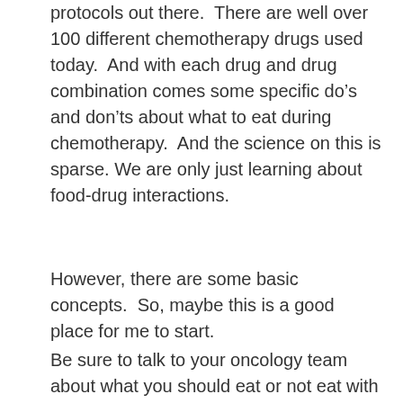protocols out there.  There are well over 100 different chemotherapy drugs used today.  And with each drug and drug combination comes some specific do’s and don’ts about what to eat during chemotherapy.  And the science on this is sparse. We are only just learning about food-drug interactions.
However, there are some basic concepts.  So, maybe this is a good place for me to start.
Be sure to talk to your oncology team about what you should eat or not eat with the chemotherapy protocol you are on.